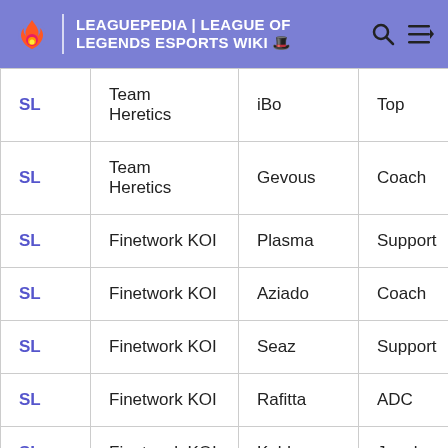LEAGUEPEDIA | LEAGUE OF LEGENDS ESPORTS WIKI
| SL | Team Heretics | iBo | Top |
| SL | Team Heretics | Gevous | Coach |
| SL | Finetwork KOI | Plasma | Support |
| SL | Finetwork KOI | Aziado | Coach |
| SL | Finetwork KOI | Seaz | Support |
| SL | Finetwork KOI | Rafitta | ADC |
| SL | Finetwork KOI | Koldo | Jungle |